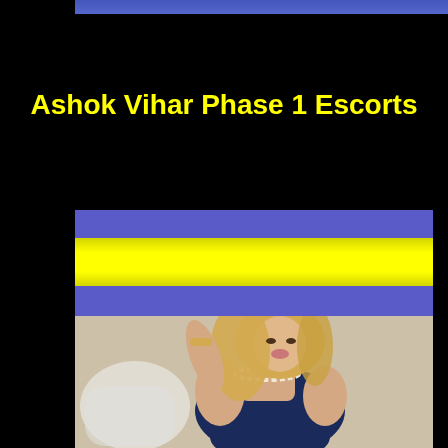Ashok Vihar Phase 1 Escorts
[Figure (photo): Promotional image with blue and yellow banner stripes at top, followed by a photo of a blonde woman wearing a navy blue outfit and pearl jewelry, posed in a chair]